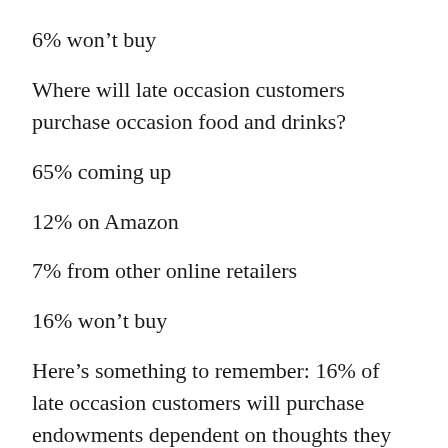6% won't buy
Where will late occasion customers purchase occasion food and drinks?
65% coming up
12% on Amazon
7% from other online retailers
16% won't buy
Here's something to remember: 16% of late occasion customers will purchase endowments dependent on thoughts they get from online media. So don't expect that these customers will race to purchase the principal thing they find in a store or on a site; they're